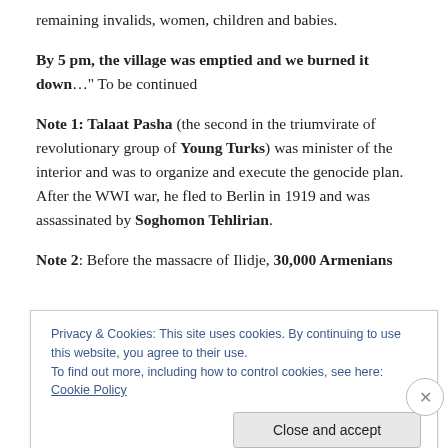remaining invalids, women, children and babies.
By 5 pm, the village was emptied and we burned it down…" To be continued
Note 1: Talaat Pasha (the second in the triumvirate of revolutionary group of Young Turks) was minister of the interior and was to organize and execute the genocide plan. After the WWI war, he fled to Berlin in 1919 and was assassinated by Soghomon Tehlirian.
Note 2: Before the massacre of Ilidje, 30,000 Armenians
Privacy & Cookies: This site uses cookies. By continuing to use this website, you agree to their use.
To find out more, including how to control cookies, see here: Cookie Policy